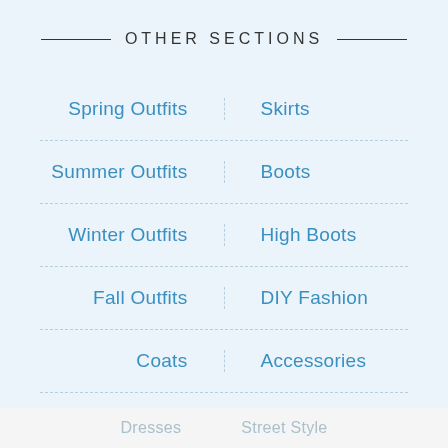OTHER SECTIONS
Spring Outfits
Skirts
Summer Outfits
Boots
Winter Outfits
High Boots
Fall Outfits
DIY Fashion
Coats
Accessories
Dresses   Street Style